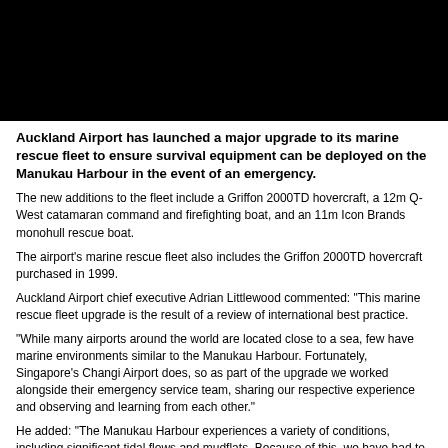[Figure (photo): Black photograph/image area at the top of the page]
Auckland Airport has launched a major upgrade to its marine rescue fleet to ensure survival equipment can be deployed on the Manukau Harbour in the event of an emergency.
The new additions to the fleet include a Griffon 2000TD hovercraft, a 12m Q-West catamaran command and firefighting boat, and an 11m Icon Brands monohull rescue boat.
The airport's marine rescue fleet also includes the Griffon 2000TD hovercraft purchased in 1999.
Auckland Airport chief executive Adrian Littlewood commented: "This marine rescue fleet upgrade is the result of a review of international best practice.
"While many airports around the world are located close to a sea, few have marine environments similar to the Manukau Harbour. Fortunately, Singapore's Changi Airport does, so as part of the upgrade we worked alongside their emergency service team, sharing our respective experience and observing and learning from each other."
He added: "The Manukau Harbour experiences a variety of conditions, including significant tidal flows and mudflats. Because of this, we have had to purchase a variety of marine rescue vessels to ensure that equipment can be deployed in the event of an emergency in any foreseeable conditions."
Airports which have a significant proportion of aircraft movements over water are required by the International Civil Aviation Organisation (ICAO) to provide a